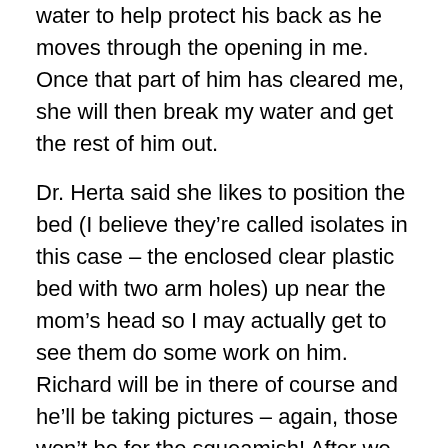water to help protect his back as he moves through the opening in me. Once that part of him has cleared me, she will then break my water and get the rest of him out.
Dr. Herta said she likes to position the bed (I believe they're called isolates in this case – the enclosed clear plastic bed with two arm holes) up near the mom's head so I may actually get to see them do some work on him. Richard will be in there of course and he'll be taking pictures – again, those won't be for the squeamish! After we (hopefully) get a few minutes of seeing him and some kisses, he'll go straight to the RNICU and Richard can go with him. At that point, our Doula will come in with me so I'm not left alone.
So our upcoming schedule at this point looks like this…
– Last OBGYN appointment Monday
– ...